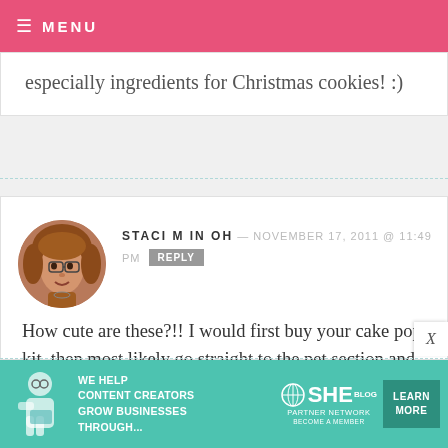MENU
especially ingredients for Christmas cookies! :)
STACI M IN OH — NOVEMBER 17, 2011 @ 11:49 PM REPLY
How cute are these?!! I would first buy your cake pop kit, then most likely go straight to the pet section and housewares to find whatever I fancied!
[Figure (other): Advertisement banner: SHE Partner Network - We help content creators grow businesses through... Learn More button]
X